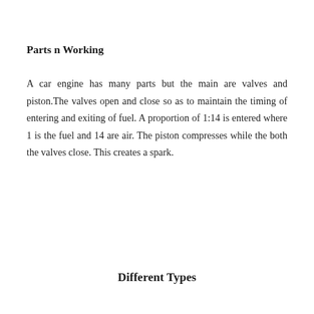Parts n Working
A car engine has many parts but the main are valves and piston.The valves open and close so as to maintain the timing of entering and exiting of fuel. A proportion of 1:14 is entered where 1 is the fuel and 14 are air. The piston compresses while the both the valves close. This creates a spark.
Different Types